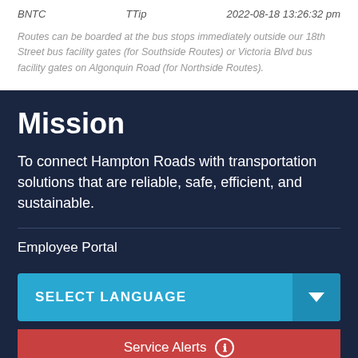BNTC   TTip   2022-08-18 13:26:32 pm
Routes can be boarded at the bus stops immediately outside our 18th Street bus facility gates (for Southside Routes) or Victoria Blvd bus facility gates on Algonquin Road (for Northside Routes).
Mission
To connect Hampton Roads with transportation solutions that are reliable, safe, efficient, and sustainable.
Employee Portal
SELECT LANGUAGE
Service Alerts